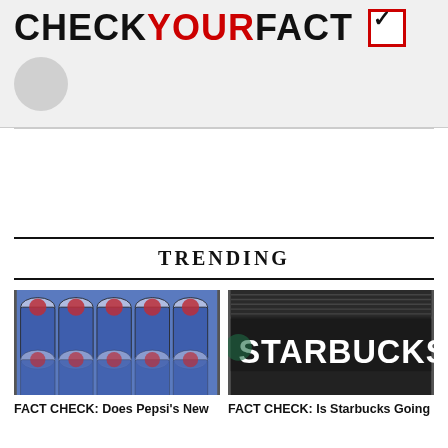CHECKYOURFACT
TRENDING
[Figure (photo): Multiple rows and columns of Pepsi cans viewed from above]
FACT CHECK: Does Pepsi's New
[Figure (photo): Starbucks sign on a dark exterior wall showing 'STARBUCKS']
FACT CHECK: Is Starbucks Going